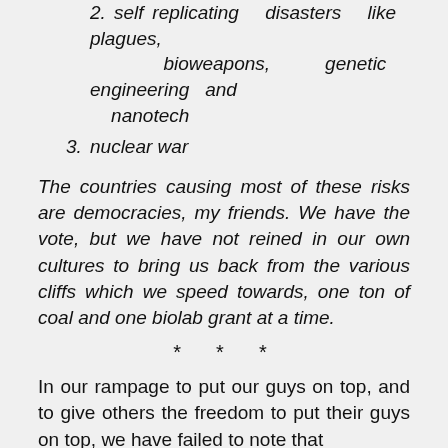2. self replicating disasters like plagues, bioweapons, genetic engineering and nanotech
3. nuclear war
The countries causing most of these risks are democracies, my friends. We have the vote, but we have not reined in our own cultures to bring us back from the various cliffs which we speed towards, one ton of coal and one biolab grant at a time.
* * *
In our rampage to put our guys on top, and to give others the freedom to put their guys on top, we have failed to note that
“our guys” are completely failing to address